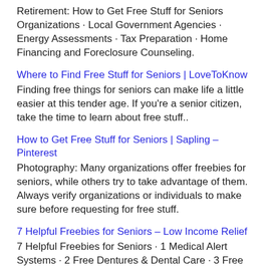Retirement: How to Get Free Stuff for Seniors Organizations · Local Government Agencies · Energy Assessments · Tax Preparation · Home Financing and Foreclosure Counseling.
Where to Find Free Stuff for Seniors | LoveToKnow
Finding free things for seniors can make life a little easier at this tender age. If you're a senior citizen, take the time to learn about free stuff..
How to Get Free Stuff for Seniors | Sapling – Pinterest
Photography: Many organizations offer freebies for seniors, while others try to take advantage of them. Always verify organizations or individuals to make sure before requesting for free stuff.
7 Helpful Freebies for Seniors – Low Income Relief
7 Helpful Freebies for Seniors · 1 Medical Alert Systems · 2 Free Dentures & Dental Care · 3 Free Hearing Aids · 4 Save